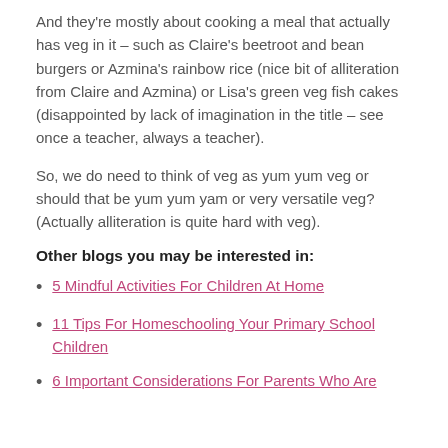And they're mostly about cooking a meal that actually has veg in it – such as Claire's beetroot and bean burgers or Azmina's rainbow rice (nice bit of alliteration from Claire and Azmina) or Lisa's green veg fish cakes (disappointed by lack of imagination in the title – see once a teacher, always a teacher).
So, we do need to think of veg as yum yum veg or should that be yum yum yam or very versatile veg? (Actually alliteration is quite hard with veg).
Other blogs you may be interested in:
5 Mindful Activities For Children At Home
11 Tips For Homeschooling Your Primary School Children
6 Important Considerations For Parents Who Are...